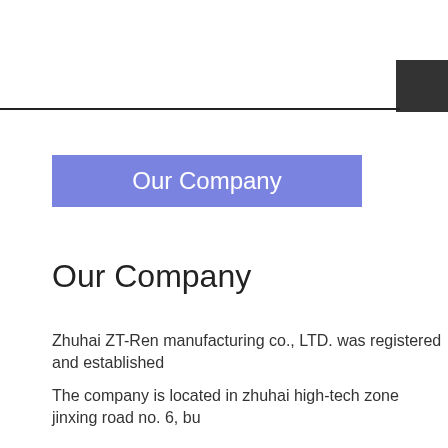[Figure (other): Dark square box in upper right corner with a horizontal line extending to the left across the header area]
Our Company
Our Company
Zhuhai ZT-Ren manufacturing co., LTD. was registered and established
The company is located in zhuhai high-tech zone jinxing road no. 6, bu